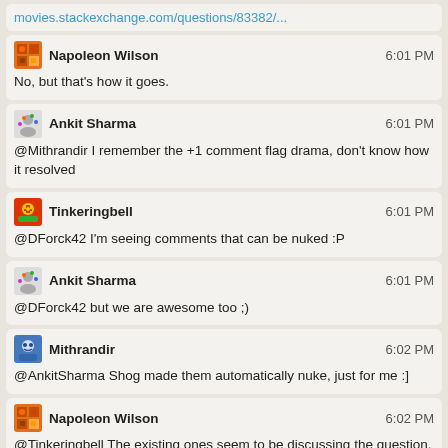movies.stackexchange.com/questions/83382/...
Napoleon Wilson 6:01 PM
No, but that's how it goes.
Ankit Sharma 6:01 PM
@Mithrandir I remember the +1 comment flag drama, don't know how it resolved
Tinkeringbell 6:01 PM
@DForck42 I'm seeing comments that can be nuked :P
Ankit Sharma 6:01 PM
@DForck42 but we are awesome too ;)
Mithrandir 6:02 PM
@AnkitSharma Shog made them automatically nuke, just for me :]
Napoleon Wilson 6:02 PM
@Tinkeringbell The existing ones seem to be discussing the question, its clarity and its merits, though.
Ankit Sharma 6:02 PM
@DForck42 agreed, ID take way more time then they deserve
Napoleon Wilson 6:03 PM
I already deleted all the stupid "remember that cool single example I'm too lazy to make a proper answer from" bullshit.